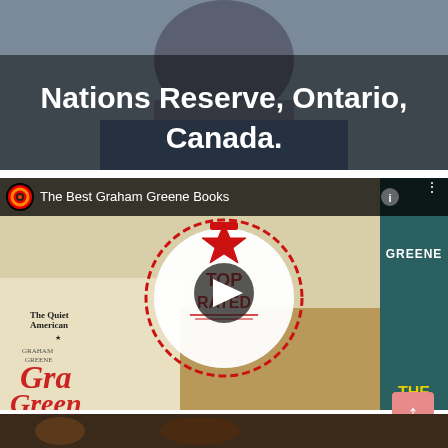[Figure (photo): A person's photo with overlaid text reading 'Nations Reserve, Ontario, Canada.' on a dark semi-transparent background]
[Figure (screenshot): A YouTube video thumbnail for 'The Best Graham Greene Books' showing Graham Greene book covers with a TOP RATED badge and play button overlay]
TRES FAMOSOS CUMPLEAÑEROS DE ESTE DIA SON...
VITO GENOVESE
[Figure (photo): Bottom portion of a photo, partially visible, dark tones]